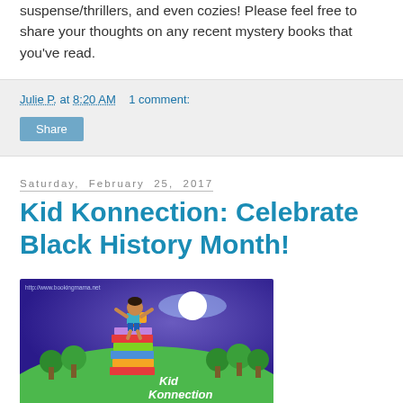suspense/thrillers, and even cozies! Please feel free to share your thoughts on any recent mystery books that you've read.
Julie P. at 8:20 AM   1 comment:
Share
Saturday, February 25, 2017
Kid Konnection: Celebrate Black History Month!
[Figure (illustration): Kid Konnection blog graphic showing a cartoon child standing on a tall stack of colorful books on a green hill, with trees in the background and a glowing moon, with text 'Kid Konnection' and URL http://www.bookingmama.net]